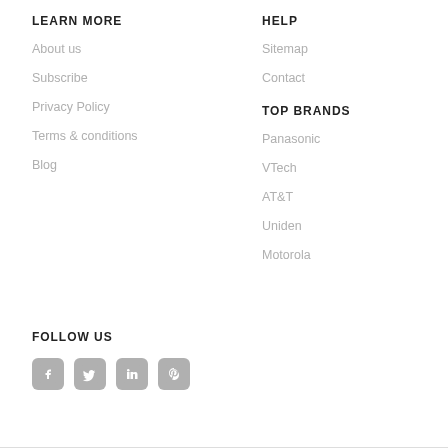LEARN MORE
About us
Subscribe
Privacy Policy
Terms & conditions
Blog
HELP
Sitemap
Contact
TOP BRANDS
Panasonic
VTech
AT&T
Uniden
Motorola
FOLLOW US
[Figure (illustration): Social media icons: Facebook, Twitter, LinkedIn, Pinterest]